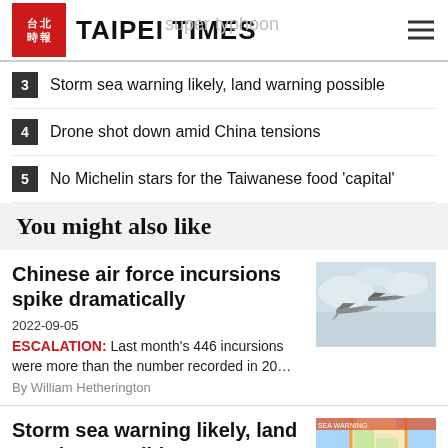TAIPEI TIMES
3 Storm sea warning likely, land warning possible
4 Drone shot down amid China tensions
5 No Michelin stars for the Taiwanese food 'capital'
You might also like
Chinese air force incursions spike dramatically
2022-09-05
ESCALATION: Last month's 446 incursions were more than the number recorded in 20...
By William Hetherington
[Figure (photo): Military jets flying in formation against cloudy sky]
Storm sea warning likely, land warning possible
[Figure (map): Map showing storm warning zones around Taiwan]